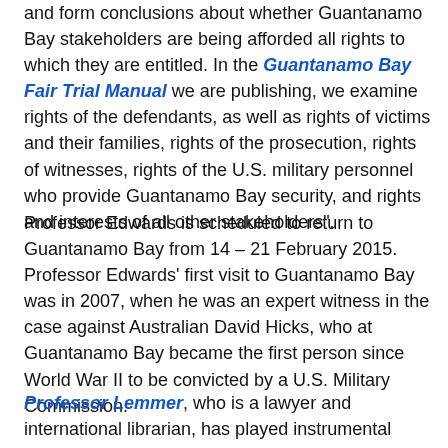and form conclusions about whether Guantanamo Bay stakeholders are being afforded all rights to which they are entitled. In the Guantanamo Bay Fair Trial Manual we are publishing, we examine rights of the defendants, as well as rights of victims and their families, rights of the prosecution, rights of witnesses, rights of the U.S. military personnel who provide Guantanamo Bay security, and rights and interests of all other stakeholders".
Professor Edwards is scheduled to return to Guantanamo Bay from 14 – 21 February 2015. Professor Edwards' first visit to Guantanamo Bay was in 2007, when he was an expert witness in the case against Australian David Hicks, who at Guantanamo Bay became the first person since World War II to be convicted by a U.S. Military Commission.
Professor Lemmer, who is a lawyer and international librarian, has played instrumental roles in the development of the Gitmo Observer.